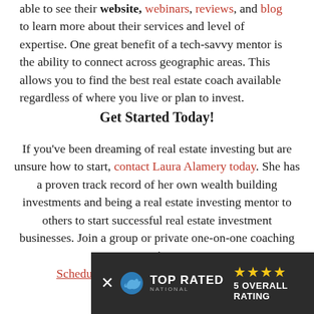able to see their website, webinars, reviews, and blog to learn more about their services and level of expertise. One great benefit of a tech-savvy mentor is the ability to connect across geographic areas. This allows you to find the best real estate coach available regardless of where you live or plan to invest.
Get Started Today!
If you've been dreaming of real estate investing but are unsure how to start, contact Laura Alamery today. She has a proven track record of her own wealth building investments and being a real estate investing mentor to others to start successful real estate investment businesses. Join a group or private one-on-one coaching session. Schedule a call with Laura to get started!
[Figure (infographic): Top Rated National banner with bird logo, 'TOP RATED NATIONAL' text, four gold stars, and '5 OVERALL RATING' text on dark background]